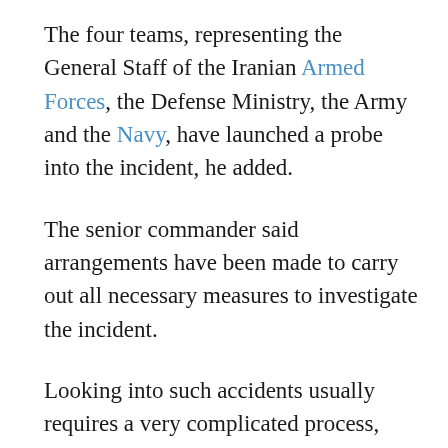The four teams, representing the General Staff of the Iranian Armed Forces, the Defense Ministry, the Army and the Navy, have launched a probe into the incident, he added.
The senior commander said arrangements have been made to carry out all necessary measures to investigate the incident.
Looking into such accidents usually requires a very complicated process, because a careful and detailed examination should be conducted to ascertain whether a problem relates to the technical issues or the human error, the Army